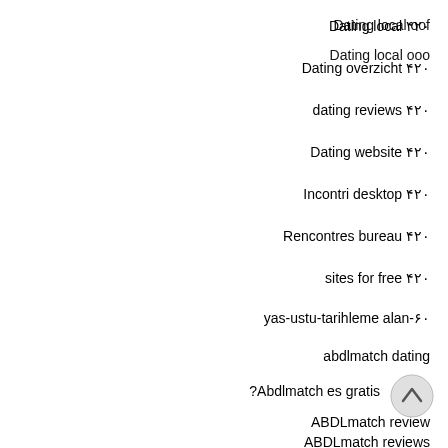Dating local ۴۲۰
Dating overzicht ۴۲۰
dating reviews ۴۲۰
Dating website ۴۲۰
Incontri desktop ۴۲۰
Rencontres bureau ۴۲۰
sites for free ۴۲۰
yas-ustu-tarihleme alan-۶۰
abdlmatch dating
?Abdlmatch es gratis
ABDLmatch review
ABDLmatch reviews
[Figure (other): Scroll-to-top button (circle with upward chevron)]